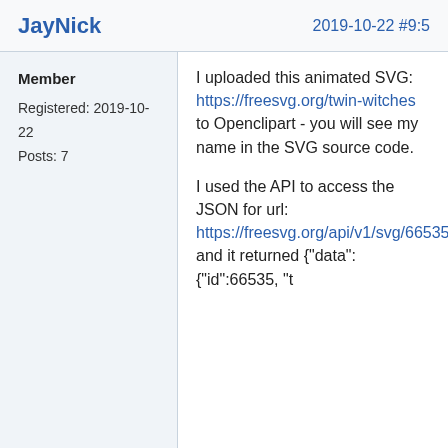JayNick
2019-10-22 #9:5
Member
Registered: 2019-10-22
Posts: 7
I uploaded this animated SVG: https://freesvg.org/twin-witches to Openclipart - you will see my name in the SVG source code.

I used the API to access the JSON for url: https://freesvg.org/api/v1/svg/66535 and it returned {"data": {"id":66535, "t